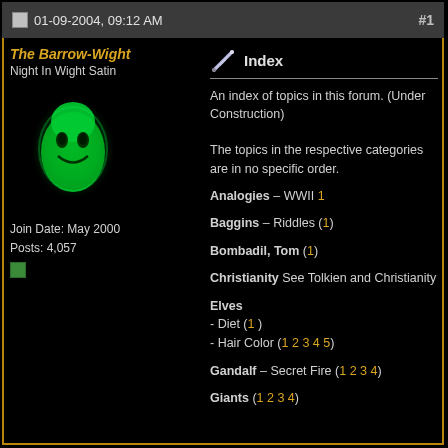01-09-2004, 09:12 AM  #1
The Barrow-Wight
Night In Wight Satin
Join Date: May 2000
Posts: 4,057
[Figure (illustration): Green glowing cartoon ghost/wight avatar on black background]
Index
An index of topics in this forum. (Under Construction)

The topics in the respective categories are in no specific order.
Analogies – WWII 1
Baggins – Riddles (1)
Bombadil, Tom (1)
Christianity See Tolkien and Christianity
Elves
- Diet (1 )
- Hair Color (1 2 3 4 5)
Gandalf – Secret Fire (1 2 3 4)
Giants (1 2 3 4)